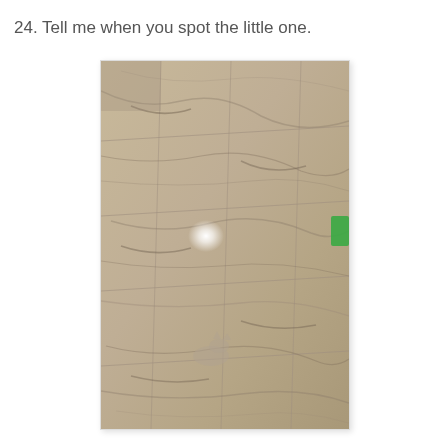24. Tell me when you spot the little one.
[Figure (photo): A photo of a marble-tiled floor viewed at an angle. The tiles have beige and grey veining patterns. There is a bright white light reflection near the center of the image and a small green object visible at the right edge. A small animal (kitten or cat) is camouflaged among the floor tiles.]